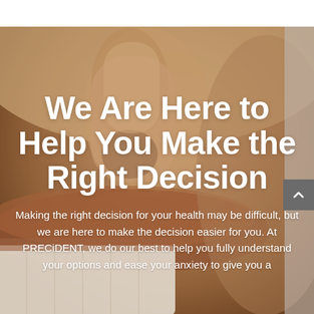[Figure (photo): Close-up photo of a person smiling showing white teeth, with a finger near the mouth. Warm skin tones dominate the background. The image serves as a dental/healthcare promotional background.]
We Are Here to Help You Make the Right Decision
Making the right decision for your health may be difficult, but we are here to make the decision easier for you. At PRECiDENT, we do our best to help you fully understand your options and ease your anxiety to give you a